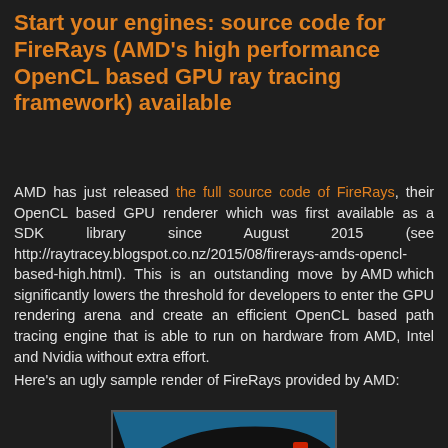Start your engines: source code for FireRays (AMD's high performance OpenCL based GPU ray tracing framework) available
AMD has just released the full source code of FireRays, their OpenCL based GPU renderer which was first available as a SDK library since August 2015 (see http://raytracey.blogspot.co.nz/2015/08/firerays-amds-opencl-based-high.html). This is an outstanding move by AMD which significantly lowers the threshold for developers to enter the GPU rendering arena and create an efficient OpenCL based path tracing engine that is able to run on hardware from AMD, Intel and Nvidia without extra effort.
Here's an ugly sample render of FireRays provided by AMD:
[Figure (photo): A close-up rendered image of a blue car wheel/rim, showing ray-traced rendering output from the FireRays GPU rendering framework.]